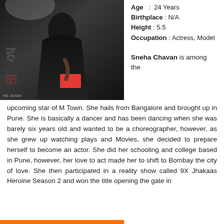[Figure (photo): Woman in black dress holding a red clutch at an event, posing in front of a movie poster backdrop]
Age : 24 Years
Birthplace : N/A
Height : 5.5
Occupation : Actress, Model
Sneha Chavan is among the upcoming star of M Town. She hails from Bangalore and brought up in Pune. She is basically a dancer and has been dancing when she was barely six years old and wanted to be a choreographer, however, as she grew up watching plays and Movies, she decided to prepare herself to become an actor. She did her schooling and college based in Pune, however, her love to act made her to shift to Bombay the city of love. She then participated in a reality show called 9X Jhakaas Heroine Season 2 and won the title opening the gate in